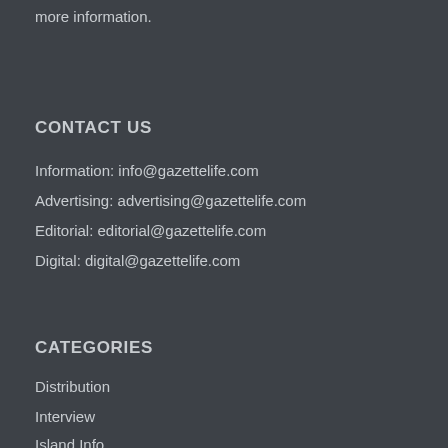more information.
CONTACT US
Information: info@gazettelife.com
Advertising: advertising@gazettelife.com
Editorial: editorial@gazettelife.com
Digital: digital@gazettelife.com
CATEGORIES
Distribution
Interview
Island Info